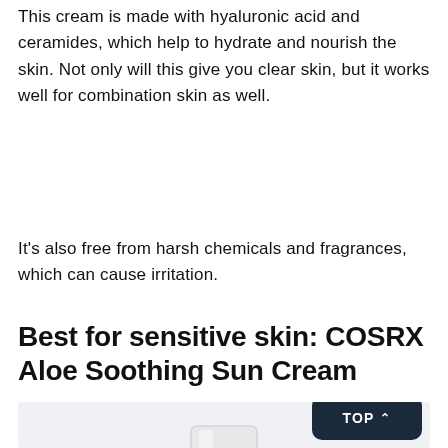This cream is made with hyaluronic acid and ceramides, which help to hydrate and nourish the skin. Not only will this give you clear skin, but it works well for combination skin as well.
It's also free from harsh chemicals and fragrances, which can cause irritation.
Best for sensitive skin: COSRX Aloe Soothing Sun Cream
[Figure (photo): Product photo of COSRX Aloe Soothing Sun Cream tube, white tube with dark green label at bottom, shown against light gray background. A dark navy 'TOP ^' button appears in the bottom right corner.]